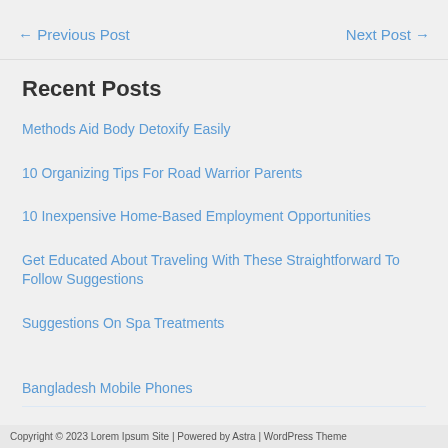← Previous Post    Next Post →
Recent Posts
Methods Aid Body Detoxify Easily
10 Organizing Tips For Road Warrior Parents
10 Inexpensive Home-Based Employment Opportunities
Get Educated About Traveling With These Straightforward To Follow Suggestions
Suggestions On Spa Treatments
Bangladesh Mobile Phones
Copyright © 2023 Lorem Ipsum Site | Powered by Astra | WordPress Theme